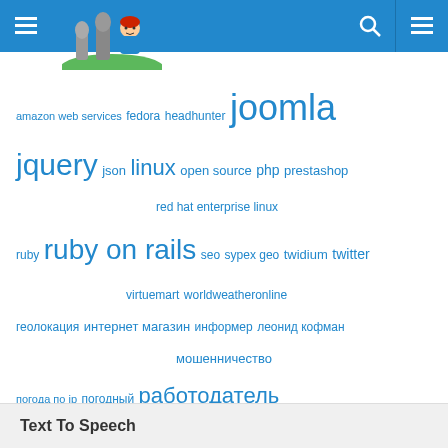[Figure (other): Website header with blue background, hamburger menu icon on left, site logo (cartoon character with Easter Island statues), search icon and menu icon on right]
[Figure (infographic): Tag cloud with technology and Russian language tags in various sizes, all in blue color: amazon web services, fedora, headhunter, joomla (largest), jquery, json, linux, open source, php, prestashop, red hat enterprise linux, ruby, ruby on rails (large), seo, sypex geo, twidium, twitter, virtuemart, worldweatheronline, геолокация, интернет магазин, информер, леонид кофман, мошенничество, погода по ip, погодный, работодатель (large), разработка (largest), серая зарплата, яндекс]
Text To Speech